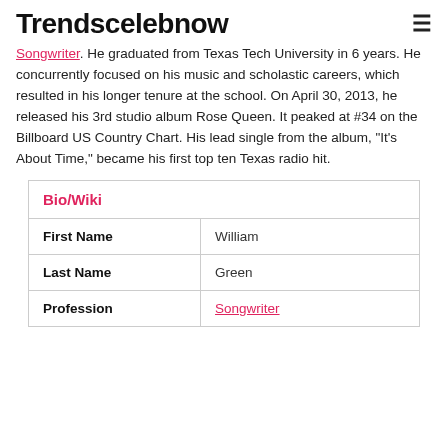Trendscelebnow
Songwriter. He graduated from Texas Tech University in 6 years. He concurrently focused on his music and scholastic careers, which resulted in his longer tenure at the school. On April 30, 2013, he released his 3rd studio album Rose Queen. It peaked at #34 on the Billboard US Country Chart. His lead single from the album, "It's About Time," became his first top ten Texas radio hit.
| Bio/Wiki |  |
| --- | --- |
| First Name | William |
| Last Name | Green |
| Profession | Songwriter |